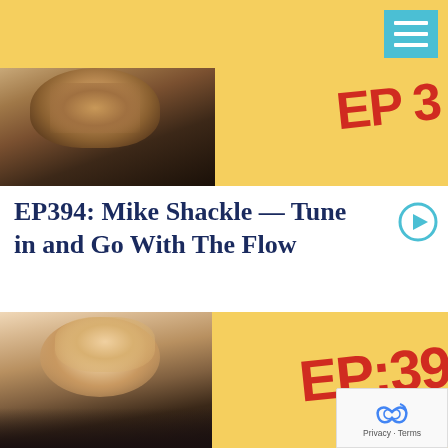[Figure (photo): Cropped close-up photo of a man's face (eyes and nose visible) on the left, with an orange/yellow background on the right showing partial text 'EP' in large red stamped letters]
EP394: Mike Shackle — Tune in and Go With The Flow
[Figure (photo): Photo of a blonde woman smiling against a dark background on the left, with an orange/yellow background on the right showing partial text 'EP:39' in large red stamped letters]